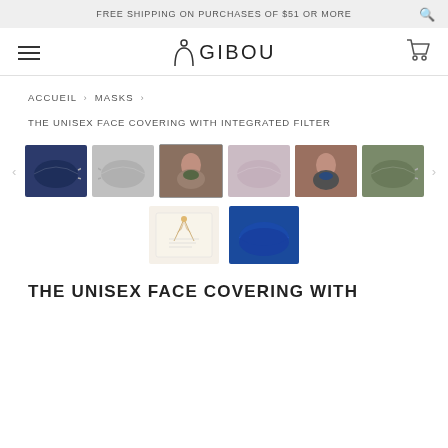FREE SHIPPING ON PURCHASES OF $51 OR MORE
[Figure (logo): GIBOU brand logo with arch/moon symbol]
ACCUEIL › MASKS ›
THE UNISEX FACE COVERING WITH INTEGRATED FILTER
[Figure (photo): Product gallery showing 6 face mask thumbnails: navy blue mask, gray patterned mask, model wearing green mask, mauve/purple mask, model wearing blue mask, olive/dark green mask. Second row: gift card and blue N95-style mask.]
THE UNISEX FACE COVERING WITH